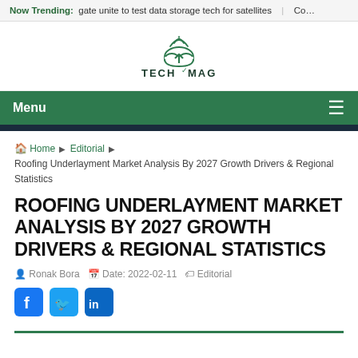Now Trending: gate unite to test data storage tech for satellites | Co…
[Figure (logo): TechMag logo: cloud with WiFi signal icon and text TECH MAG in teal/green]
Menu ≡
🏠 Home ▶ Editorial ▶ Roofing Underlayment Market Analysis By 2027 Growth Drivers & Regional Statistics
ROOFING UNDERLAYMENT MARKET ANALYSIS BY 2027 GROWTH DRIVERS & REGIONAL STATISTICS
Ronak Bora   Date: 2022-02-11   Editorial
[Figure (illustration): Social media share icons: Facebook (blue), Twitter (cyan), LinkedIn (dark blue)]